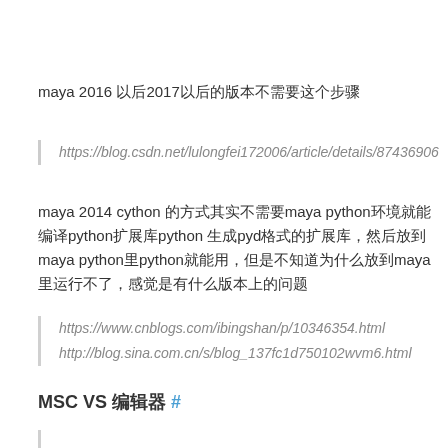maya 2016 以后2017以后的版本不需要这个步骤
https://blog.csdn.net/lulongfei172006/article/details/87436906
maya 2014 cython 的方式其实不需要maya python环境就能编译python扩展库python 生成pyd格式的扩展库，然后放到maya python里python就能用，但是不知道为什么放到maya里运行不了，感觉是有什么版本上的问题
https://www.cnblogs.com/ibingshan/p/10346354.html
http://blog.sina.com.cn/s/blog_137fc1d750102wvm6.html
MSC VS 编辑器 #